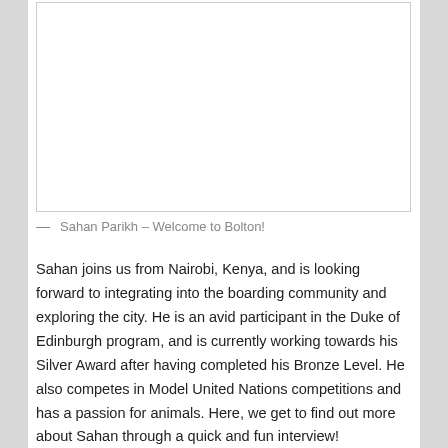[Figure (screenshot): Language selector dropdown showing Canadian flag and 'English' with a chevron, positioned at top right of a white content box]
[Figure (photo): Large white/blank image box representing a photo of Sahan Parikh]
— Sahan Parikh – Welcome to Bolton!
Sahan joins us from Nairobi, Kenya, and is looking forward to integrating into the boarding community and exploring the city. He is an avid participant in the Duke of Edinburgh program, and is currently working towards his Silver Award after having completed his Bronze Level. He also competes in Model United Nations competitions and has a passion for animals. Here, we get to find out more about Sahan through a quick and fun interview!